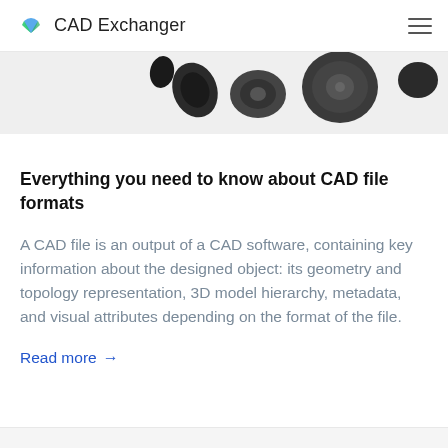CAD Exchanger
[Figure (photo): Partial view of dark mechanical CAD parts/components on a light gray background, cropped at top]
Everything you need to know about CAD file formats
A CAD file is an output of a CAD software, containing key information about the designed object: its geometry and topology representation, 3D model hierarchy, metadata, and visual attributes depending on the format of the file.
Read more →